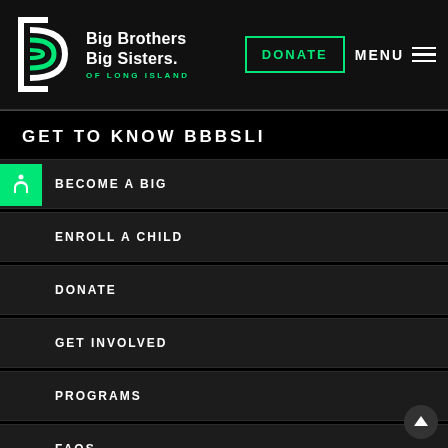Big Brothers Big Sisters of Long Island — DONATE | MENU
GET TO KNOW BBBSLI
BECOME A BIG
ENROLL A CHILD
DONATE
GET INVOLVED
PROGRAMS
FAQS